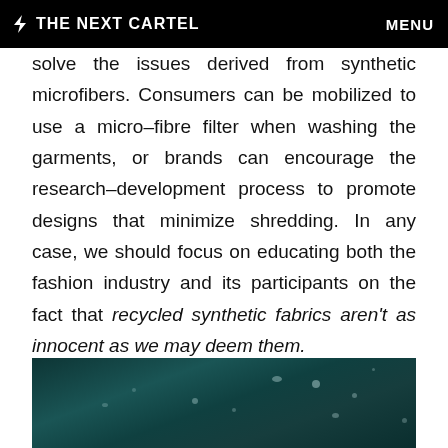⚡ THE NEXT CARTEL   MENU
solve the issues derived from synthetic microfibers. Consumers can be mobilized to use a micro–fibre filter when washing the garments, or brands can encourage the research–development process to promote designs that minimize shredding. In any case, we should focus on educating both the fashion industry and its participants on the fact that recycled synthetic fabrics aren't as innocent as we may deem them.
[Figure (photo): Dark teal underwater or night sky photograph with scattered light speckles]